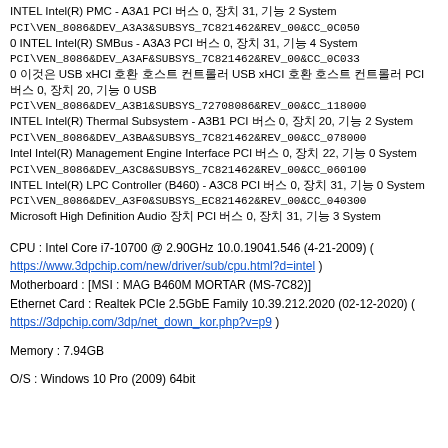INTEL Intel(R) PMC - A3A1 PCI 버스 0, 장치 31, 기능 2 System PCI\VEN_8086&DEV_A3A3&SUBSYS_7C821462&REV_00&CC_0C050 INTEL Intel(R) SMBus - A3A3 PCI 버스 0, 장치 31, 기능 4 System PCI\VEN_8086&DEV_A3AF&SUBSYS_7C821462&REV_00&CC_0C0330 이것은 USB xHCI 호환 호스트 컨트롤러 USB xHCI 호환 호스트 컨트롤러 PCI 버스 0, 장치 20, 기능 0 USB PCI\VEN_8086&DEV_A3B1&SUBSYS_72708086&REV_00&CC_118000 INTEL Intel(R) Thermal Subsystem - A3B1 PCI 버스 0, 장치 20, 기능 2 System PCI\VEN_8086&DEV_A3BA&SUBSYS_7C821462&REV_00&CC_078000 Intel Intel(R) Management Engine Interface PCI 버스 0, 장치 22, 기능 0 System PCI\VEN_8086&DEV_A3C8&SUBSYS_7C821462&REV_00&CC_060100 INTEL Intel(R) LPC Controller (B460) - A3C8 PCI 버스 0, 장치 31, 기능 0 System PCI\VEN_8086&DEV_A3F0&SUBSYS_EC821462&REV_00&CC_040300 Microsoft High Definition Audio 장치 PCI 버스 0, 장치 31, 기능 3 System
CPU : Intel Core i7-10700 @ 2.90GHz 10.0.19041.546 (4-21-2009) ( https://www.3dpchip.com/new/driver/sub/cpu.html?d=intel )
Motherboard : [MSI : MAG B460M MORTAR (MS-7C82)]
Ethernet Card : Realtek PCIe 2.5GbE Family 10.39.212.2020 (02-12-2020) ( https://3dpchip.com/3dp/net_down_kor.php?v=p9 )
Memory : 7.94GB
O/S : Windows 10 Pro (2009) 64bit